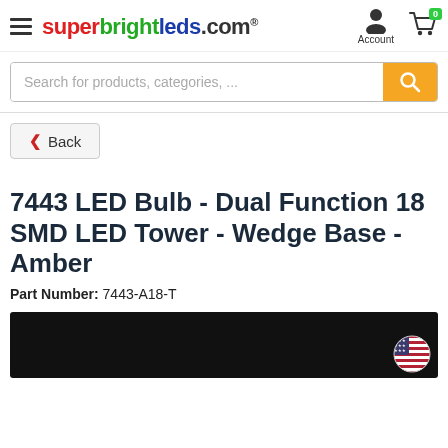superbrightleds.com
Search for products, categories, ...
Back
7443 LED Bulb - Dual Function 18 SMD LED Tower - Wedge Base - Amber
Part Number: 7443-A18-T
[Figure (photo): Product image strip with black background and US flag icon in bottom right corner]